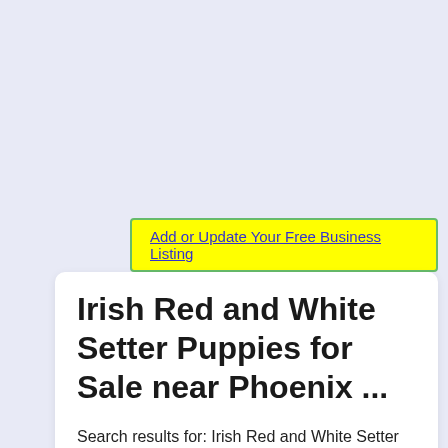Add or Update Your Free Business Listing
Irish Red and White Setter Puppies for Sale near Phoenix ...
Search results for: Irish Red and White Setter puppies and dogs for sale near Phoenix, Arizona, USA area on Puppyfinder.com More